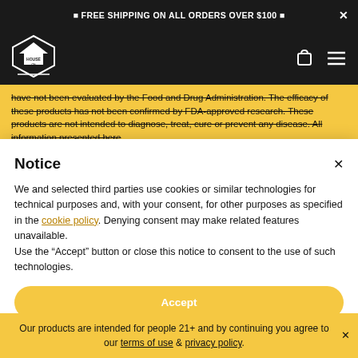🔷 FREE SHIPPING ON ALL ORDERS OVER $100 🔷
[Figure (logo): House of Wise logo — hexagonal badge with text HOUSE OF WISE]
have not been evaluated by the Food and Drug Administration. The efficacy of these products has not been confirmed by FDA-approved research. These products are not intended to diagnose, treat, cure or prevent any disease. All information presented here
Notice
We and selected third parties use cookies or similar technologies for technical purposes and, with your consent, for other purposes as specified in the cookie policy. Denying consent may make related features unavailable.
Use the "Accept" button or close this notice to consent to the use of such technologies.
Accept
Our products are intended for people 21+ and by continuing you agree to our terms of use & privacy policy.